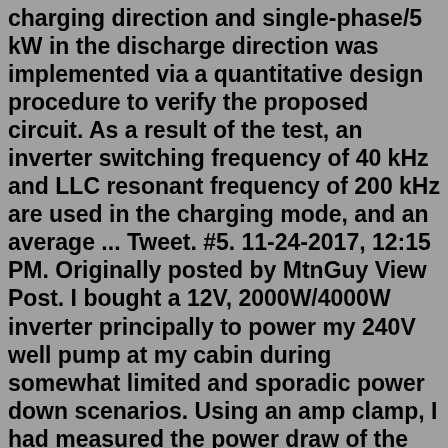charging direction and single-phase/5 kW in the discharge direction was implemented via a quantitative design procedure to verify the proposed circuit. As a result of the test, an inverter switching frequency of 40 kHz and LLC resonant frequency of 200 kHz are used in the charging mode, and an average ... Tweet. #5. 11-24-2017, 12:15 PM. Originally posted by MtnGuy View Post. I bought a 12V, 2000W/4000W inverter principally to power my 240V well pump at my cabin during somewhat limited and sporadic power down scenarios. Using an amp clamp, I had measured the power draw of the well pump of about 1800W. I have a 400W solar array with about 220Ah ...The first coil of the transformer is mounted on the charger side, and the second coil is installed on the vehicle. Single-phase or three-phase ac supply of frequency 50-60 Hz is first rectified to dc, and then, this rectified dc is inverted to very-high-frequency ac within the charging station. This high-frequency power is transferred to the ...Single-phase and three-phase power solutions use different